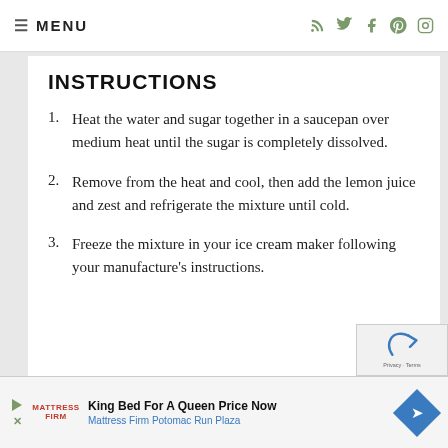≡ MENU  [social icons: RSS, Twitter, Facebook, Pinterest, Instagram]
INSTRUCTIONS
Heat the water and sugar together in a saucepan over medium heat until the sugar is completely dissolved.
Remove from the heat and cool, then add the lemon juice and zest and refrigerate the mixture until cold.
Freeze the mixture in your ice cream maker following your manufacture's instructions.
King Bed For A Queen Price Now | Mattress Firm Potomac Run Plaza